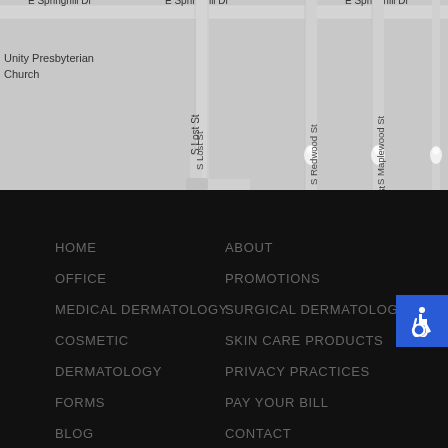[Figure (map): Street map showing E Springhill Dr (horizontal road repeated three times across), S Lost St (vertical), S Redwood St (vertical), S Maplewood St (vertical), and Unity Presbyterian Church label. Map pins visible on S Redwood St and S Maplewood St area.]
HOME
OFFICE
MEDICAL DERMATOLOGY
COSMETIC
DERMATOLOGY
FORMS
BLOG
ABOUT
PROMOTIONS
SURGICAL DERMATOLOGY
SKIN CARE PRODUCTS
PRIVACY PRACTICES
PAY YOUR BILL
CONTACT